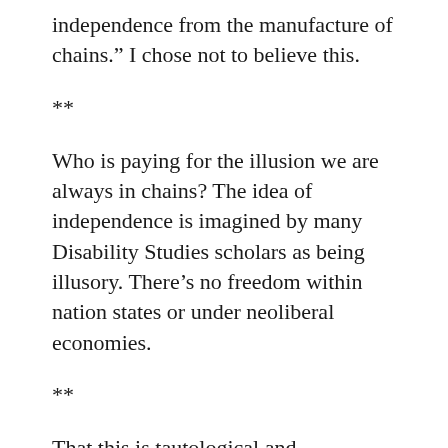independence from the manufacture of chains.” I chose not to believe this.
**
Who is paying for the illusion we are always in chains? The idea of independence is imagined by many Disability Studies scholars as being illusory. There’s no freedom within nation states or under neoliberal economies.
**
That this is tautological and prescriptive is one reason why representing bodies as failed states or colonized regions is seductive. My blindness is a conditioned program. I’m doubly blinded